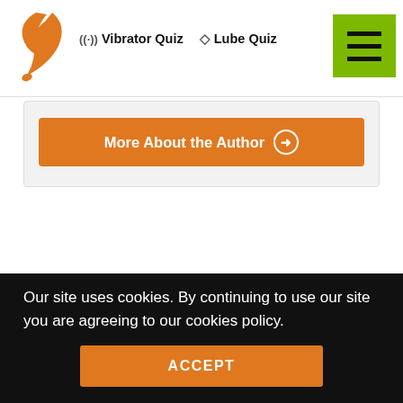Vibrator Quiz   Lube Quiz
More About the Author →
Other Articles From This Author:
Can You Use Hemp Seed Oil As Lube, Or For Anal Sex?
How To Squirt With A Vibrator: For First-
Our site uses cookies. By continuing to use our site you are agreeing to our cookies policy.
ACCEPT